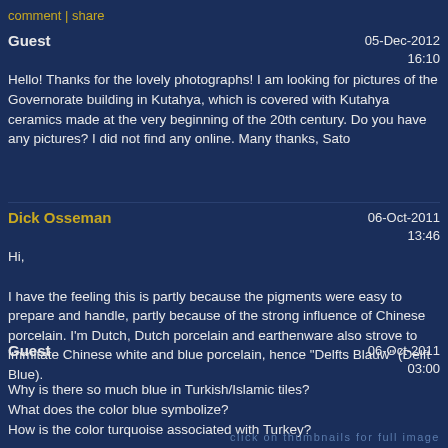comment | share
Guest
05-Dec-2012
16:10
Hello! Thanks for the lovely photographs! I am looking for pictures of the Governorate building in Kutahya, which is covered with Kutahya ceramics made at the very beginning of the 20th century. Do you have any pictures? I did not find any online. Many thanks, Sato
Dick Osseman
06-Oct-2011
13:46
Hi,

I have the feeling this is partly because the pigments were easy to prepare and handle, partly because of the strong influence of Chinese porcelain. I'm Dutch, Dutch porcelain and earthenware also strove to immitate Chinese white and blue porcelain, hence "Delfts Blauw" (Delft Blue).
Guest
06-Oct-2011
03:00
Why is there so much blue in Turkish/Islamic tiles?
What does the color blue symbolize?
How is the color turquoise associated with Turkey?

Thanks.
click on thumbnails for full image